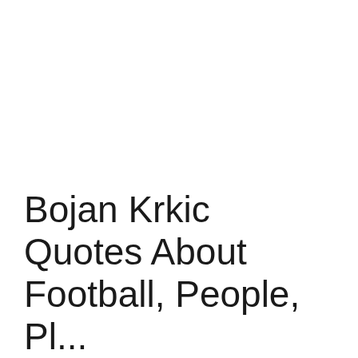Bojan Krkic Quotes About Football, People, Pl...